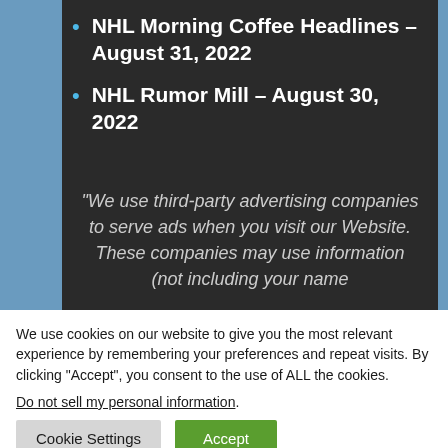NHL Morning Coffee Headlines – August 31, 2022
NHL Rumor Mill – August 30, 2022
“We use third-party advertising companies to serve ads when you visit our Website. These companies may use information (not including your name
We use cookies on our website to give you the most relevant experience by remembering your preferences and repeat visits. By clicking “Accept”, you consent to the use of ALL the cookies.
Do not sell my personal information.